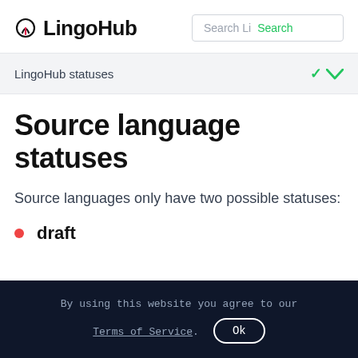LingoHub — Search Li  Search
LingoHub statuses
Source language statuses
Source languages only have two possible statuses:
draft
By using this website you agree to our Terms of Service. Ok